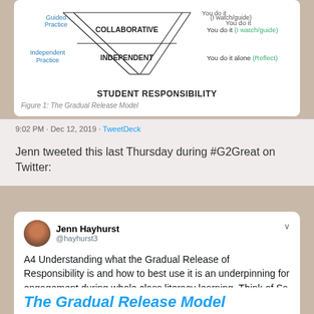[Figure (schematic): The Gradual Release Model diagram — an inverted triangle with Collaborative at top and Independent below, with Guided Practice and Independent Practice labels on the left, and 'You do it (I watch/guide)' and 'You do it alone (Reflect)' on the right. Below: STUDENT RESPONSIBILITY caption.]
Figure 1: The Gradual Release Model
9:02 PM · Dec 12, 2019 · TweetDeck
Jenn tweeted this last Thursday during #G2Great on Twitter:
[Figure (screenshot): Tweet by Jenn Hayhurst (@hayhurst3): A4 Understanding what the Gradual Release of Responsibility is and how to best use it is an underpinning for engagement during whole class literacy learning. Think of Ss attention span think of ways to get into an active learning stance. #G2Great]
[Figure (screenshot): Partially visible card at bottom showing title: The Gradual Release Model (in blue italic text)]